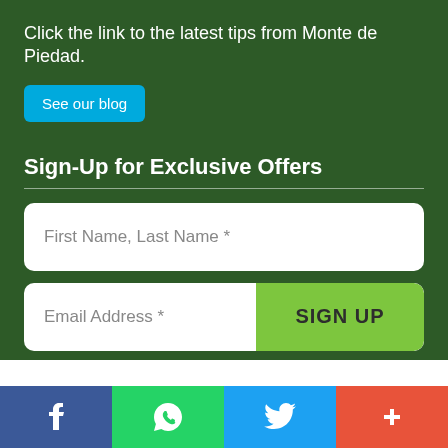Click the link to the latest tips from Monte de Piedad.
See our blog
Sign-Up for Exclusive Offers
First Name, Last Name *
Email Address *
SIGN UP
[Figure (infographic): Social media bar with four icons: Facebook (blue), WhatsApp (green), Twitter (light blue), and a plus/share button (red-orange).]